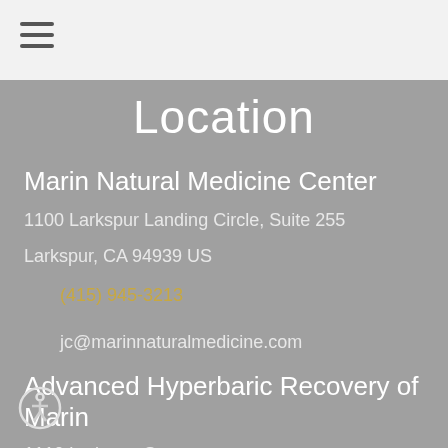☰
Location
Marin Natural Medicine Center
1100 Larkspur Landing Circle, Suite 255
Larkspur, CA 94939 US
(415) 945-3213
jc@marinnaturalmedicine.com
Advanced Hyperbaric Recovery of Marin
1110 Larkspur Street...